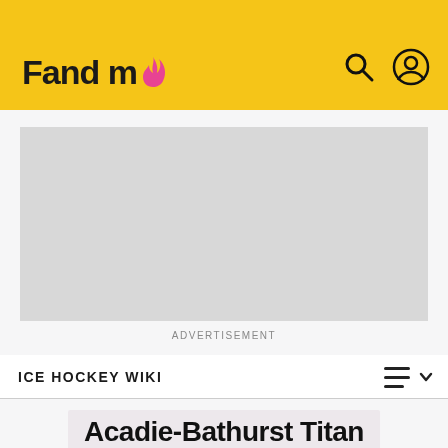Fandom
[Figure (screenshot): Gray advertisement placeholder rectangle]
ADVERTISEMENT
ICE HOCKEY WIKI
Acadie-Bathurst Titan
Acadie-Bathurst Titan
[Figure (illustration): Partially visible Titan Spartan helmet mascot logo illustration]